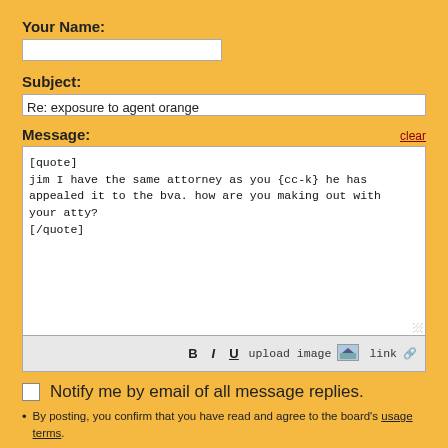Your Name:
Subject:
Re: exposure to agent orange
Message:
[quote]
jim I have the same attorney as you {cc-k} he has appealed it to the bva. how are you making out with your atty?
[/quote]
Notify me by email of all message replies.
By posting, you confirm that you have read and agree to the board's usage terms.
Post   Preview